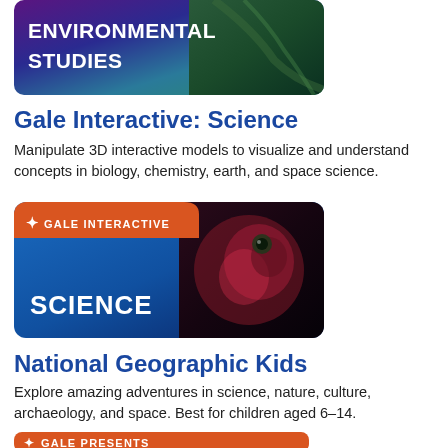[Figure (illustration): Environmental Studies banner with purple/teal gradient background and aerial nature imagery, white bold text reading ENVIRONMENTAL STUDIES]
Gale Interactive: Science
Manipulate 3D interactive models to visualize and understand concepts in biology, chemistry, earth, and space science.
[Figure (illustration): Gale Interactive Science product banner: orange top strip with GALE INTERACTIVE text, blue background with SCIENCE text in white, right side shows anatomical frog/creature image]
National Geographic Kids
Explore amazing adventures in science, nature, culture, archaeology, and space. Best for children aged 6–14.
[Figure (illustration): Gale Presents National Geographic Kids banner: orange top strip with GALE PRESENTS, green bottom with National Geographic yellow border logo and NATIONAL text]